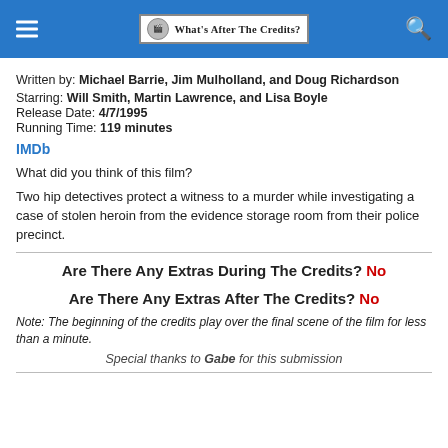What's After The Credits?
Written by: Michael Barrie, Jim Mulholland, and Doug Richardson
Starring: Will Smith, Martin Lawrence, and Lisa Boyle
Release Date: 4/7/1995
Running Time: 119 minutes
IMDb
What did you think of this film?
Two hip detectives protect a witness to a murder while investigating a case of stolen heroin from the evidence storage room from their police precinct.
Are There Any Extras During The Credits? No
Are There Any Extras After The Credits? No
Note: The beginning of the credits play over the final scene of the film for less than a minute.
Special thanks to Gabe for this submission